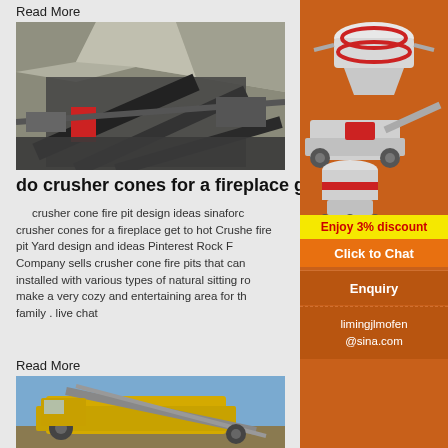Read More
[Figure (photo): Aerial view of mining/quarry crushing equipment with conveyors and machinery on rocky terrain]
do crusher cones for a fireplace get
crusher cone fire pit design ideas sinaford crusher cones for a fireplace get to hot Crusher fire pit Yard design and ideas Pinterest Rock Company sells crusher cone fire pits that can installed with various types of natural sitting ro make a very cozy and entertaining area for the family . live chat
Read More
[Figure (photo): Yellow/gold construction or mining machinery with conveyor against blue sky]
[Figure (infographic): Sidebar advertisement for Liming mining equipment showing crusher machines]
Enjoy 3% discount
Click to Chat
Enquiry
limingjlmofen @sina.com